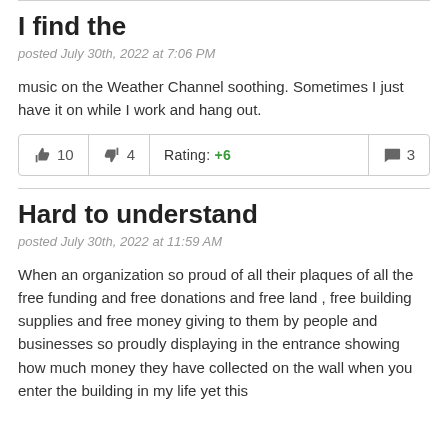I find the
posted July 30th, 2022 at 7:06 PM
music on the Weather Channel soothing. Sometimes I just have it on while I work and hang out.
| 👍 10 | 👎 4 | Rating: +6 | 💬 3 |
Hard to understand
posted July 30th, 2022 at 11:59 AM
When an organization so proud of all their plaques of all the free funding and free donations and free land , free building supplies and free money giving to them by people and businesses so proudly displaying in the entrance showing how much money they have collected on the wall when you enter the building in my life yet this